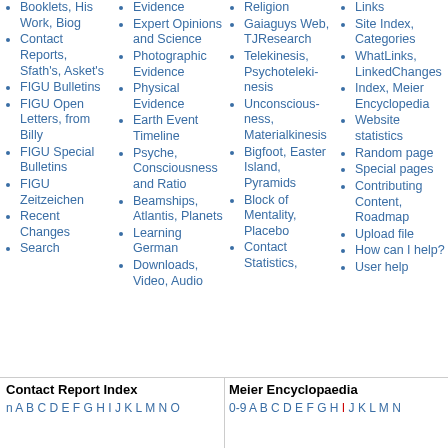Booklets, His Work, Biog
Contact Reports, Sfath's, Asket's
FIGU Bulletins
FIGU Open Letters, from Billy
FIGU Special Bulletins
FIGU Zeitzeichen
Recent Changes
Search
Evidence
Expert Opinions and Science
Photographic Evidence
Physical Evidence
Earth Event Timeline
Psyche, Consciousness and Ratio
Beamships, Atlantis, Planets
Learning German
Downloads, Video, Audio
Religion
Gaiaguys Web, TJResearch
Telekinesis, Psychotelekinesis
Unconsciousness, Materialkinesis
Bigfoot, Easter Island, Pyramids
Block of Mentality, Placebo
Contact Statistics,
Links
Site Index, Categories
WhatLinks, LinkedChanges
Index, Meier Encyclopedia
Website statistics
Random page
Special pages
Contributing Content, Roadmap
Upload file
How can I help?
User help
Contact Report Index
n A B C D E F G H I J K L M N O
Meier Encyclopaedia
0-9 A B C D E F G H I J K L M N